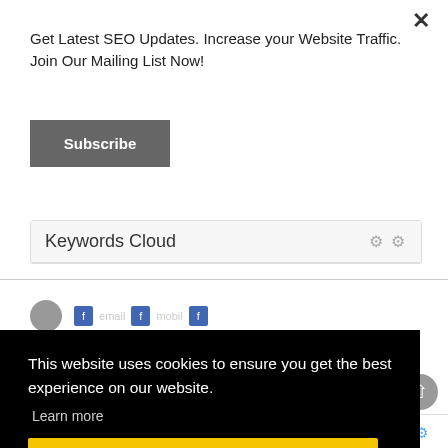Get Latest SEO Updates. Increase your Website Traffic. Join Our Mailing List Now!
Subscribe
Keywords Cloud
This website uses cookies to ensure you get the best experience on our website.
Learn more
Got it!
Keyword Consistency